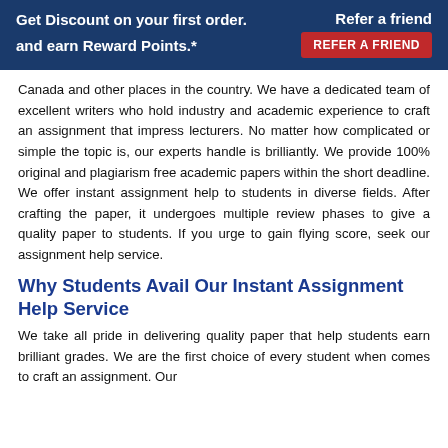Get Discount on your first order. Refer a friend and earn Reward Points.* REFER A FRIEND
Canada and other places in the country. We have a dedicated team of excellent writers who hold industry and academic experience to craft an assignment that impress lecturers. No matter how complicated or simple the topic is, our experts handle is brilliantly. We provide 100% original and plagiarism free academic papers within the short deadline. We offer instant assignment help to students in diverse fields. After crafting the paper, it undergoes multiple review phases to give a quality paper to students. If you urge to gain flying score, seek our assignment help service.
Why Students Avail Our Instant Assignment Help Service
We take all pride in delivering quality paper that help students earn brilliant grades. We are the first choice of every student when comes to craft an assignment. Our